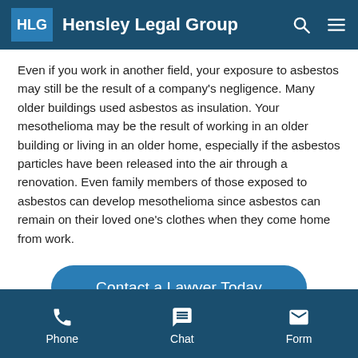Hensley Legal Group
Even if you work in another field, your exposure to asbestos may still be the result of a company’s negligence. Many older buildings used asbestos as insulation. Your mesothelioma may be the result of working in an older building or living in an older home, especially if the asbestos particles have been released into the air through a renovation. Even family members of those exposed to asbestos can develop mesothelioma since asbestos can remain on their loved one’s clothes when they come home from work.
Contact a Lawyer Today
Phone  Chat  Form